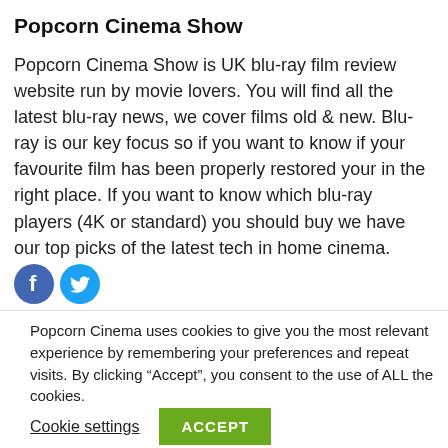Popcorn Cinema Show
Popcorn Cinema Show is UK blu-ray film review website run by movie lovers. You will find all the latest blu-ray news, we cover films old & new. Blu-ray is our key focus so if you want to know if your favourite film has been properly restored your in the right place. If you want to know which blu-ray players (4K or standard) you should buy we have our top picks of the latest tech in home cinema.
[Figure (infographic): Facebook and Twitter social media icon buttons (circles with logos)]
Popcorn Cinema uses cookies to give you the most relevant experience by remembering your preferences and repeat visits. By clicking “Accept”, you consent to the use of ALL the cookies.
Cookie settings  ACCEPT